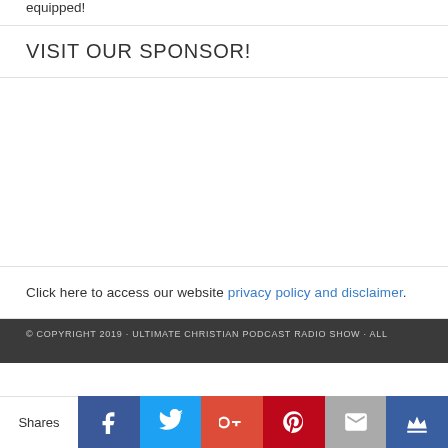equipped!
VISIT OUR SPONSOR!
[Figure (other): Advertisement placeholder area (blank white space)]
Click here to access our website privacy policy and disclaimer.
© COPYRIGHT 2019 · ULTIMATE CHRISTIAN PODCAST RADIO SHOW · ALL
Shares